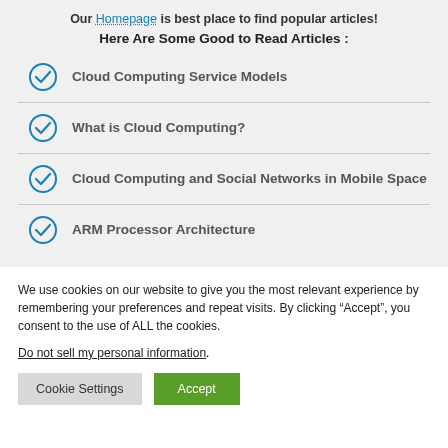Our Homepage is best place to find popular articles!
Here Are Some Good to Read Articles :
Cloud Computing Service Models
What is Cloud Computing?
Cloud Computing and Social Networks in Mobile Space
ARM Processor Architecture
We use cookies on our website to give you the most relevant experience by remembering your preferences and repeat visits. By clicking “Accept”, you consent to the use of ALL the cookies.
Do not sell my personal information.